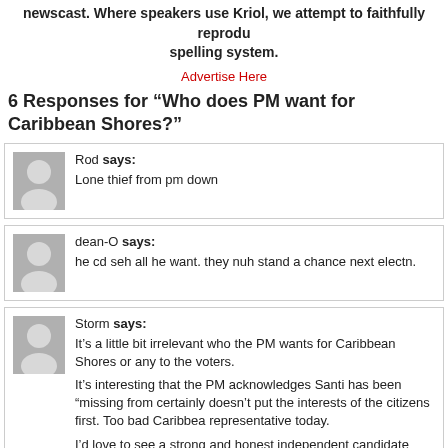newscast. Where speakers use Kriol, we attempt to faithfully reproduce the spelling system.
Advertise Here
6 Responses for “Who does PM want for Caribbean Shores?”
Rod says: Lone thief from pm down
dean-O says: he cd seh all he want. they nuh stand a chance next electn.
Storm says: It's a little bit irrelevant who the PM wants for Caribbean Shores or any to the voters. It's interesting that the PM acknowledges Santi has been "missing from certainly doesn't put the interests of the citizens first. Too bad Caribbean representative today. I'd love to see a strong and honest independent candidate take a run th megalomaniac from UDP. If a third party could run and win just a handful of seats, it could control and force a correction in course of a failing nation.